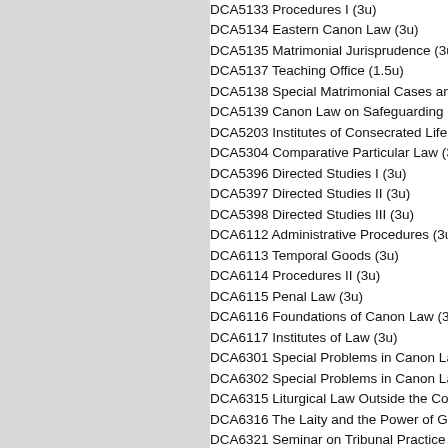DCA5133 Procedures I (3u)
DCA5134 Eastern Canon Law (3u)
DCA5135 Matrimonial Jurisprudence (3u)
DCA5137 Teaching Office (1.5u)
DCA5138 Special Matrimonial Cases and
DCA5139 Canon Law on Safeguarding Mi
DCA5203 Institutes of Consecrated Life ar
DCA5304 Comparative Particular Law (3u
DCA5396 Directed Studies I (3u)
DCA5397 Directed Studies II (3u)
DCA5398 Directed Studies III (3u)
DCA6112 Administrative Procedures (3u)
DCA6113 Temporal Goods (3u)
DCA6114 Procedures II (3u)
DCA6115 Penal Law (3u)
DCA6116 Foundations of Canon Law (3u)
DCA6117 Institutes of Law (3u)
DCA6301 Special Problems in Canon Law
DCA6302 Special Problems in Canon Law
DCA6315 Liturgical Law Outside the Code
DCA6316 The Laity and the Power of Gov
DCA6321 Seminar on Tribunal Practice (3
DCA6363 Special Problems in Canon Law
DCA6364 Special Problems in Canon Law
DCA6365 Special Problems in Canon Law
DCA6366 Special Problems in Canon Law
DCA6367 Special Problems in Canon Law
DCA6396 Selected Topics in Canon Law I
DCA6397 Selected Topics in Canon Law II
DCA6398 Selected Topics in Canon Law